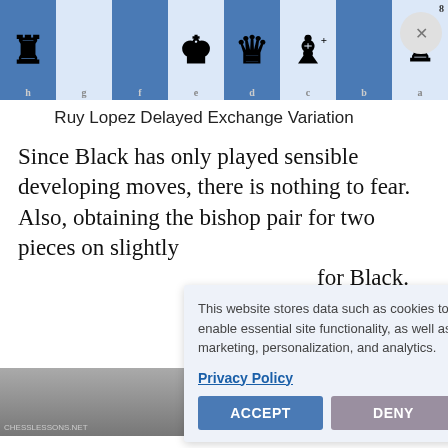[Figure (other): Chess board top rank showing pieces: rook on h8 (dark square), g8 (empty light), f8 (empty dark), king on e8, queen on d8, bishop on c8 with plus symbol, b8 (empty dark), rook on a8. File labels visible: h, g, f, e, d, c, b, a. Rank number 8 shown.]
Ruy Lopez Delayed Exchange Variation
Since Black has only played sensible developing moves, there is nothing to fear. Also, obtaining the bishop pair for two pieces on slightly [obscured] for Black.
This website stores data such as cookies to enable essential site functionality, as well as marketing, personalization, and analytics.

Privacy Policy

ACCEPT    DENY
[Figure (photo): Partial view of a book or printed material at bottom of page, partially obscured by cookie consent dialog.]